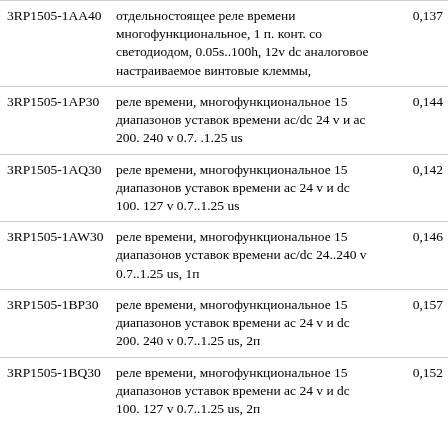| Артикул | Описание | Цена |
| --- | --- | --- |
| 3RP1505-1AA40 | отдельностоящее реле времени многофункциональное, 1 п. конт. со светодиодом, 0.05s..100h, 12v dc аналоговое настраиваемое винтовые клеммы, | 0,137 |
| 3RP1505-1AP30 | реле времени, многофункциональное 15 диапазонов уставок времени ac/dc 24 v и ac 200. 240 v 0.7. .1.25 us | 0,144 |
| 3RP1505-1AQ30 | реле времени, многофункциональное 15 диапазонов уставок времени ac 24 v и dc 100. 127 v 0.7..1.25 us | 0,142 |
| 3RP1505-1AW30 | реле времени, многофункциональное 15 диапазонов уставок времени ac/dc 24..240 v 0.7..1.25 us, 1п | 0,146 |
| 3RP1505-1BP30 | реле времени, многофункциональное 15 диапазонов уставок времени ac 24 v и dc 200. 240 v 0.7..1.25 us, 2п | 0,157 |
| 3RP1505-1BQ30 | реле времени, многофункциональное 15 диапазонов уставок времени ac 24 v и dc 100. 127 v 0.7..1.25 us, 2п | 0,152 |